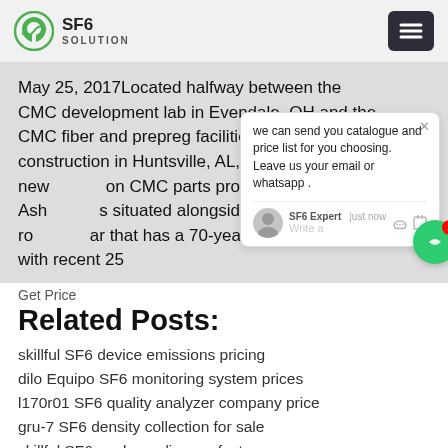SF6 SOLUTION
May 25, 2017Located halfway between the CMC development lab in Evendale, OH and the CMC fiber and prepreg facilities under construction in Huntsville, AL, is GE Aviation's new [on] CMC parts production facility in Ash[eville, NC, i]s situated alongside a GE Aviation ro[tor casting pl]an that has a 70-year local history, with[in the most] recent 25
we can send you catalogue and price list for you choosing. Leave us your email or whatsapp .
SF6 Expert    just now
Write a
Get Price
Related Posts:
skillful SF6 device emissions pricing
dilo Equipo SF6 monitoring system prices
l170r01 SF6 quality analyzer company price
gru-7 SF6 density collection for sale
skillful SF6 analyzer dispose factory